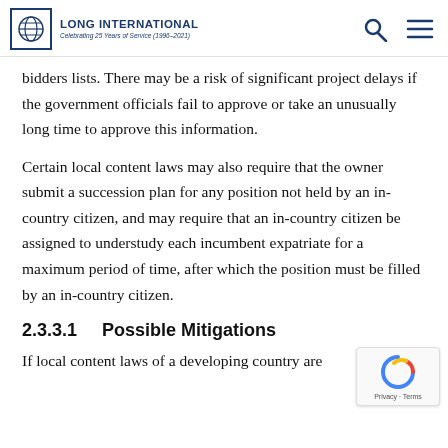Long International — Celebrating 25 Years of Service (1996–2021)
bidders lists. There may be a risk of significant project delays if the government officials fail to approve or take an unusually long time to approve this information.
Certain local content laws may also require that the owner submit a succession plan for any position not held by an in-country citizen, and may require that an in-country citizen be assigned to understudy each incumbent expatriate for a maximum period of time, after which the position must be filled by an in-country citizen.
2.3.3.1    Possible Mitigations
If local content laws of a developing country are